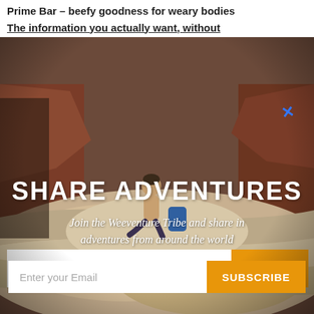Prime Bar – beefy goodness for weary bodies
The information you actually want, without
[Figure (photo): Photo of a shirtless man sitting on a large pale rock formation in a canyon with reddish-brown canyon walls. Other hikers are visible in the background. A blue 'x' marker appears in the upper right of the image.]
SHARE ADVENTURES
Join the Weeventure Tribe and share in adventures from around the world
Enter your Email
SUBSCRIBE